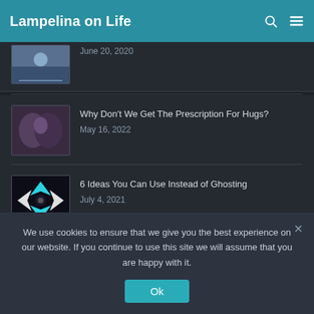Lampelina on Life
June 20, 2020
Why Don't We Get The Prescription For Hugs?
May 16, 2022
6 Ideas You Can Use Instead of Ghosting
July 4, 2021
Made with ♡ by
We use cookies to ensure that we give you the best experience on our website. If you continue to use this site we will assume that you are happy with it.